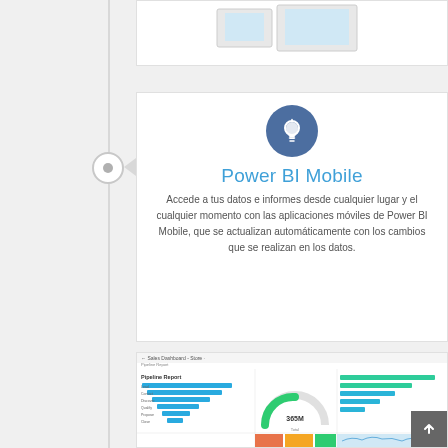[Figure (screenshot): Top card showing devices/screenshots (partially visible at top of page)]
[Figure (illustration): Blue circle with lightbulb icon — Power BI Mobile feature icon]
Power BI Mobile
Accede a tus datos e informes desde cualquier lugar y el cualquier momento con las aplicaciones móviles de Power BI Mobile, que se actualizan automáticamente con los cambios que se realizan en los datos.
[Figure (screenshot): Sales Dashboard - Store - Pipeline Report screenshot showing funnel chart, gauge with 365M, bar charts, and map]